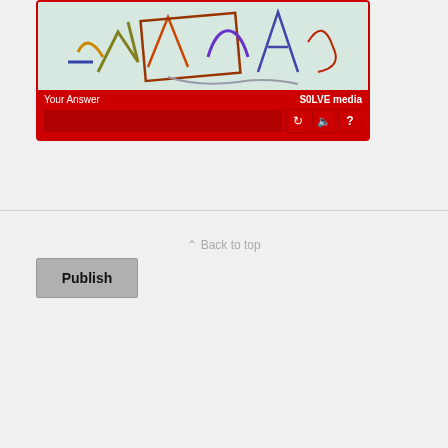[Figure (screenshot): CAPTCHA widget with doodle-style text on light green background, red border and bottom bar with 'Your Answer' label, SOLVEmedia logo, text input field, and control buttons (refresh, audio, help)]
[Figure (screenshot): Publish button - grey rectangular button with bold 'Publish' text]
[Figure (screenshot): Back to top link with caret symbol]
[Figure (screenshot): Mobile/Desktop toggle bar with Mobile selected (dark blue) and Desktop unselected (light grey)]
[Figure (screenshot): Twitter bird icon in a circle button]